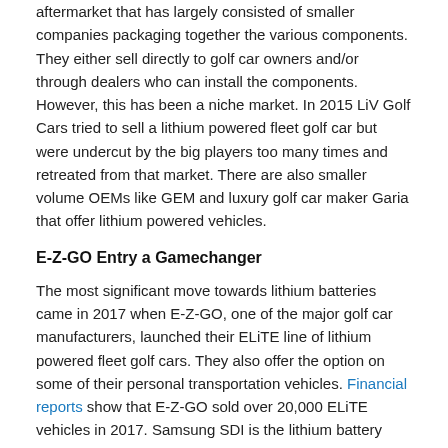aftermarket that has largely consisted of smaller companies packaging together the various components. They either sell directly to golf car owners and/or through dealers who can install the components. However, this has been a niche market. In 2015 LiV Golf Cars tried to sell a lithium powered fleet golf car but were undercut by the big players too many times and retreated from that market. There are also smaller volume OEMs like GEM and luxury golf car maker Garia that offer lithium powered vehicles.
E-Z-GO Entry a Gamechanger
The most significant move towards lithium batteries came in 2017 when E-Z-GO, one of the major golf car manufacturers, launched their ELiTE line of lithium powered fleet golf cars. They also offer the option on some of their personal transportation vehicles. Financial reports show that E-Z-GO sold over 20,000 ELiTE vehicles in 2017. Samsung SDI is the lithium battery supplier for E-Z-GO. Rival golf car manufacturer Club Car has been linked to battery manufacturer LG Chem but has